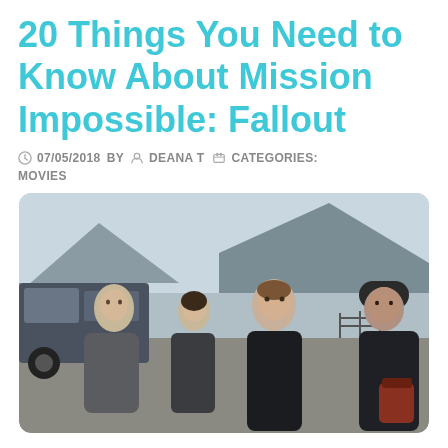20 Things You Need to Know About Mission Impossible: Fallout
07/05/2018  BY  DEANA T  CATEGORIES: MOVIES
[Figure (photo): Four cast members of Mission Impossible: Fallout standing outdoors in dark clothing with mountains and a vehicle in the background.]
Looking for all the best Mission Impossible: Fallout quotes & trivia? We've got you covered! Read on